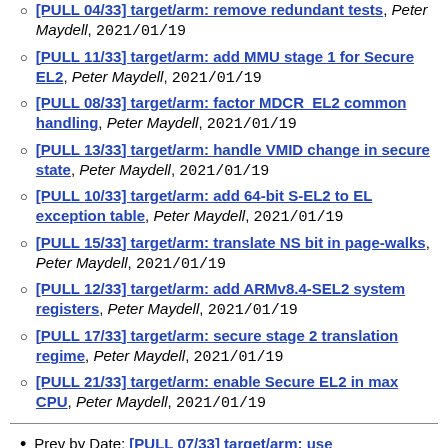[PULL 04/33] target/arm: remove redundant tests, Peter Maydell, 2021/01/19
[PULL 11/33] target/arm: add MMU stage 1 for Secure EL2, Peter Maydell, 2021/01/19
[PULL 08/33] target/arm: factor MDCR_EL2 common handling, Peter Maydell, 2021/01/19
[PULL 13/33] target/arm: handle VMID change in secure state, Peter Maydell, 2021/01/19
[PULL 10/33] target/arm: add 64-bit S-EL2 to EL exception table, Peter Maydell, 2021/01/19
[PULL 15/33] target/arm: translate NS bit in page-walks, Peter Maydell, 2021/01/19
[PULL 12/33] target/arm: add ARMv8.4-SEL2 system registers, Peter Maydell, 2021/01/19
[PULL 17/33] target/arm: secure stage 2 translation regime, Peter Maydell, 2021/01/19
[PULL 21/33] target/arm: enable Secure EL2 in max CPU, Peter Maydell, 2021/01/19
Prev by Date: [PULL 07/33] target/arm: use arm_hcr_el2_eff() where applicable
Next by Date: [PULL 06/33] target/arm: use arm_is_el2_enabled() where applicable
Previous by thread: [PULL 07/33] target/arm: use arm_hcr_el2_eff() where applicable